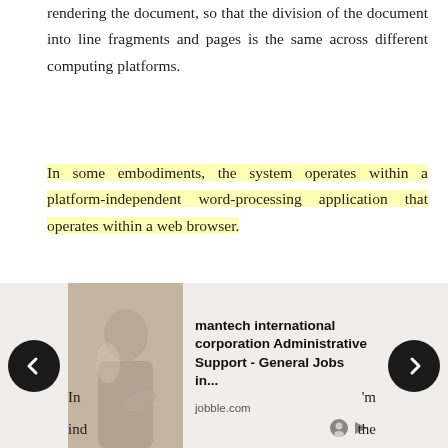rendering the document, so that the division of the document into line fragments and pages is the same across different computing platforms.
In some embodiments, the system operates within a platform-independent word-processing application that operates within a web browser.
In some embodiments, the system operates within a web browser.
[Figure (infographic): Advertisement banner showing a job listing for 'mantech international corporation Administrative Support - General Jobs in...' from jobble.com, with navigation arrows on left and right, a photo of a person writing, and partial text from the page visible on sides.]